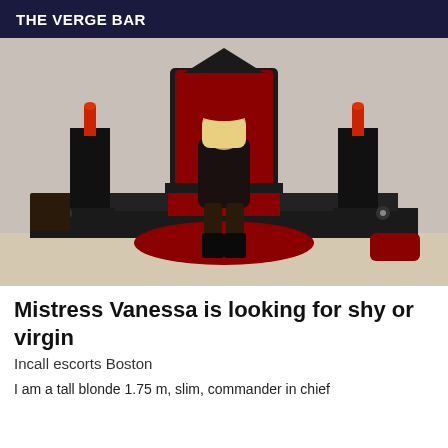THE VERGE BAR
[Figure (photo): A blonde woman in a black corset dress and tall black boots seated on a dramatic black throne-style chair with red velvet cushion, flanked by tall black candle holders with red candles, on a red fluffy rug, in a gothic-themed room setting.]
Mistress Vanessa is looking for shy or virgin
Incall escorts Boston
I am a tall blonde 1.75 m, slim, commander in chief